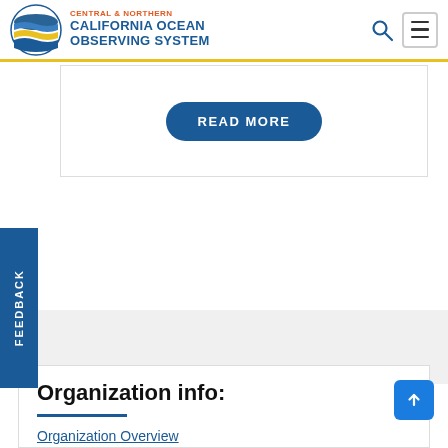Central & Northern California Ocean Observing System
[Figure (logo): Central & Northern California Ocean Observing System globe logo with blue, gold and teal wave layers]
READ MORE
FEEDBACK
Organization info:
Organization Overview